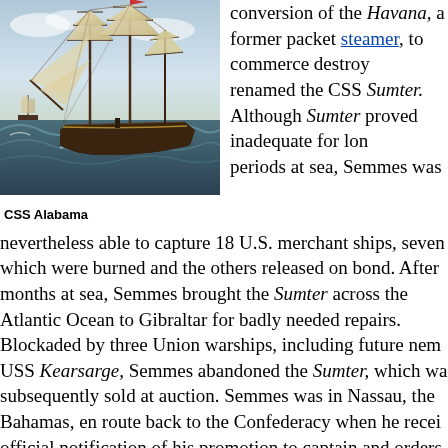[Figure (illustration): Painting of CSS Alabama, a large sailing warship with full sails on rough seas, another smaller ship visible in the background]
CSS Alabama
conversion of the Havana, a former packet steamer, to commerce destroyer, renamed the CSS Sumter. Although Sumter proved inadequate for long periods at sea, Semmes was nevertheless able to capture 18 U.S. merchant ships, seven which were burned and the others released on bond. After months at sea, Semmes brought the Sumter across the Atlantic Ocean to Gibraltar for badly needed repairs. Blockaded by three Union warships, including future nem USS Kearsarge, Semmes abandoned the Sumter, which wa subsequently sold at auction. Semmes was in Nassau, the Bahamas, en route back to the Confederacy when he recei official notification of his promotion to captain and orders return to England to take command of a new ship. Construction of this vessel—originally identified only as